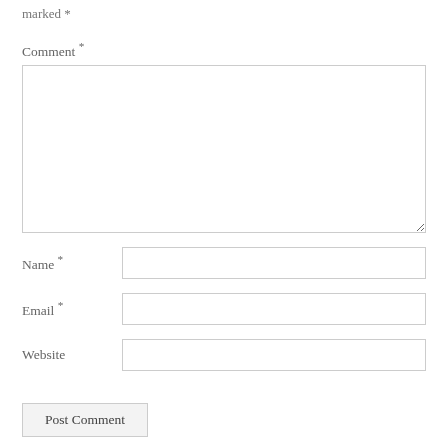marked *
Comment *
[Figure (other): Large empty textarea for comment input]
Name *
[Figure (other): Text input field for Name]
Email *
[Figure (other): Text input field for Email]
Website
[Figure (other): Text input field for Website]
Post Comment